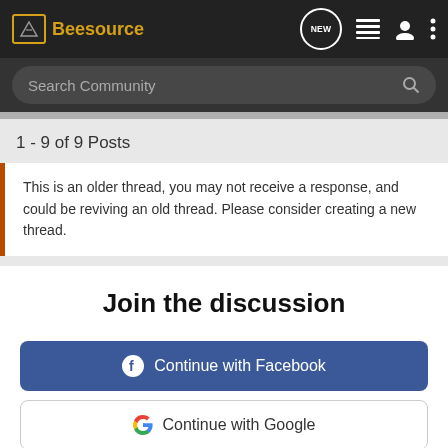Beesource
Search Community
1 - 9 of 9 Posts
This is an older thread, you may not receive a response, and could be reviving an old thread. Please consider creating a new thread.
Join the discussion
Continue with Facebook
Continue with Google
[Figure (screenshot): Chevrolet Silverado HD advertisement banner with text: SILVERADO HD, FLEX YOUR WORK MUSCLES. Available Multi-Flex Tailgate. Chevrolet Silverado HD logo.]